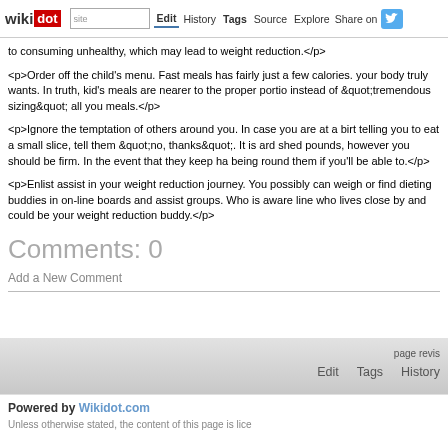wikidot | site | Edit | History | Tags | Source | Explore | Share on [Twitter]
<p>to consuming unhealthy, which may lead to weight reduction.</p>
<p>Order off the child's menu. Fast meals has fairly just a few calories. your body truly wants. In truth, kid's meals are nearer to the proper portio instead of &quot;tremendous sizing&quot; all you meals.</p>
<p>Ignore the temptation of others around you. In case you are at a birt telling you to eat a small slice, tell them &quot;no, thanks&quot;. It is ard shed pounds, however you should be firm. In the event that they keep ha being round them if you'll be able to.</p>
<p>Enlist assist in your weight reduction journey. You possibly can weigh or find dieting buddies in on-line boards and assist groups. Who is aware line who lives close by and could be your weight reduction buddy.</p>
Comments: 0
Add a New Comment
page revis | Edit | Tags | History
Powered by Wikidot.com
Unless otherwise stated, the content of this page is lice